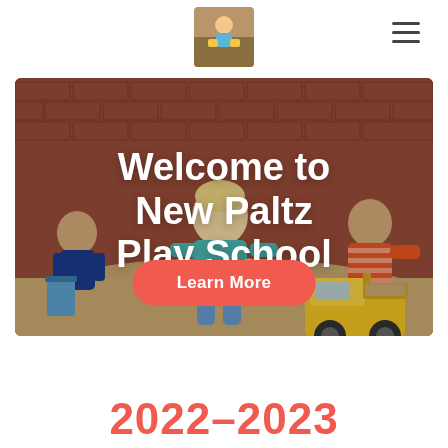Navigation bar with logo and hamburger menu
[Figure (photo): Small square logo photo showing children playing with toy trucks outdoors]
[Figure (photo): Hero image of children playing in a sandbox with buckets and yellow toy construction vehicles in front of a brick wall]
Welcome to New Paltz Play School
Learn More
2022–2023